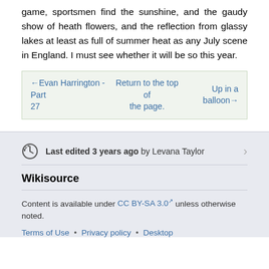game, sportsmen find the sunshine, and the gaudy show of heath flowers, and the reflection from glassy lakes at least as full of summer heat as any July scene in England. I must see whether it will be so this year.
| ←Evan Harrington - Part 27 | Return to the top of the page. | Up in a balloon→ |
Last edited 3 years ago by Levana Taylor
Wikisource
Content is available under CC BY-SA 3.0 unless otherwise noted.
Terms of Use • Privacy policy • Desktop